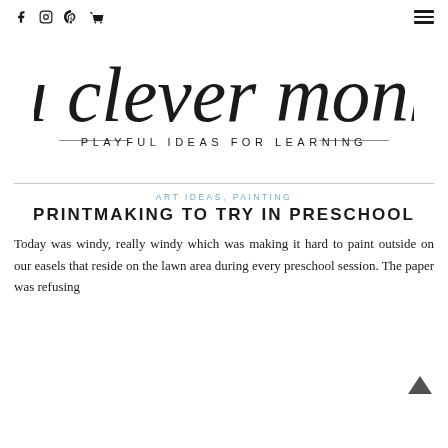Social icons: f, Instagram, Pinterest, Cart | Hamburger menu
[Figure (logo): You Clever Monkey logo — cursive script text 'you clever monkey' with subtitle 'PLAYFUL IDEAS FOR LEARNING']
ART IDEAS, PAINTING
PRINTMAKING TO TRY IN PRESCHOOL
Today was windy, really windy which was making it hard to paint outside on our easels that reside on the lawn area during every preschool session. The paper was refusing